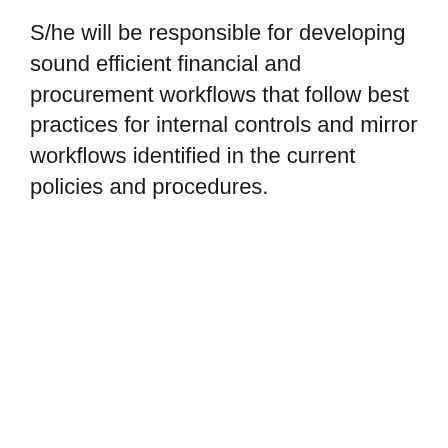S/he will be responsible for developing sound efficient financial and procurement workflows that follow best practices for internal controls and mirror workflows identified in the current policies and procedures.